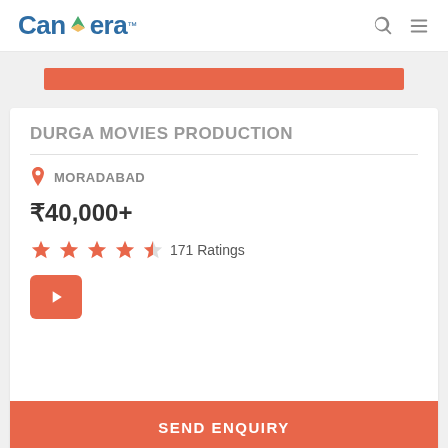Canvera
[Figure (other): Orange horizontal banner bar]
DURGA MOVIES PRODUCTION
MORADABAD
₹40,000+
171 Ratings
[Figure (other): Orange play button icon]
SEND ENQUIRY